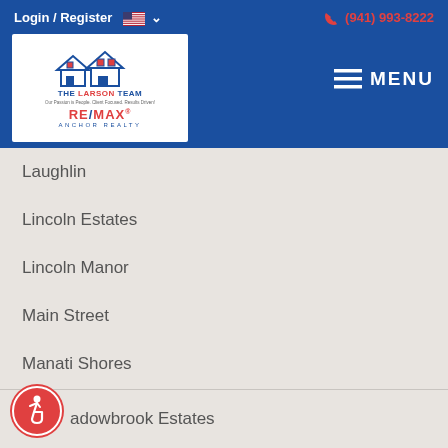Login / Register  (941) 993-8222
[Figure (logo): The Larson Team RE/MAX Anchor Realty logo with house illustration]
Laughlin
Lincoln Estates
Lincoln Manor
Main Street
Manati Shores
Mangrove Point
Maria Theresa Manor
Meadowbrook Estates